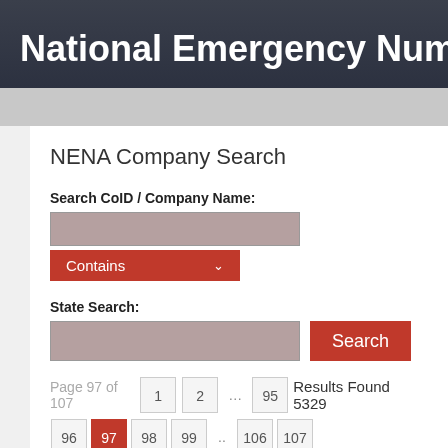National Emergency Number Asso
NENA Company Search
Search CoID / Company Name:
Contains
State Search:
Search
Page 97 of 107   1  2  ...  95
Results Found 5329
96  97  98  99  ..  106  107